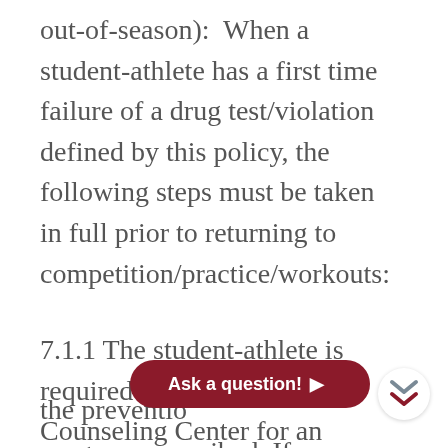out-of-season):  When a student-athlete has a first time failure of a drug test/violation defined by this policy, the following steps must be taken in full prior to returning to competition/practice/workouts:
7.1.1 The student-athlete is required to meet with the Counseling Center for an evaluation and to participate in the prevention program prescribed. If Individual